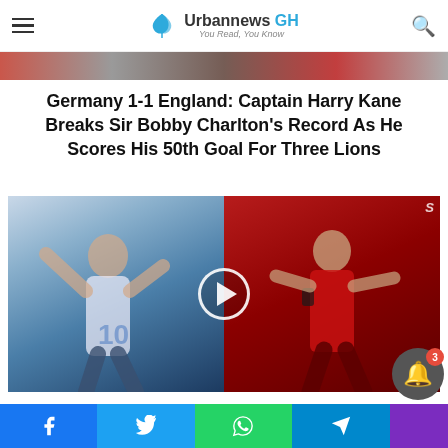Urbannews GH — You Read, You Know
[Figure (photo): Top image strip showing partial football/soccer related imagery]
Germany 1-1 England: Captain Harry Kane Breaks Sir Bobby Charlton's Record As He Scores His 50th Goal For Three Lions
[Figure (photo): Split photo showing Lionel Messi (left, in Argentina white-blue jersey number 10) and Cristiano Ronaldo (right, in Portugal red jersey), with a video play button overlay in the center]
6 African Countries Ronaldo And Messi Have Scored Goals Against